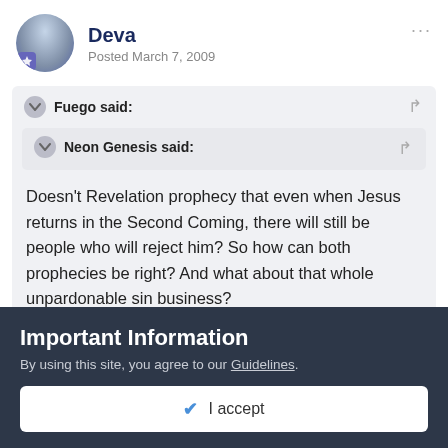Deva
Posted March 7, 2009
Fuego said:
Neon Genesis said:
Doesn't Revelation prophecy that even when Jesus returns in the Second Coming, there will still be people who will reject him? So how can both prophecies be right? And what about that whole unpardonable sin business?
My take on it was that this was not a conversion...
Important Information
By using this site, you agree to our Guidelines.
✔ I accept